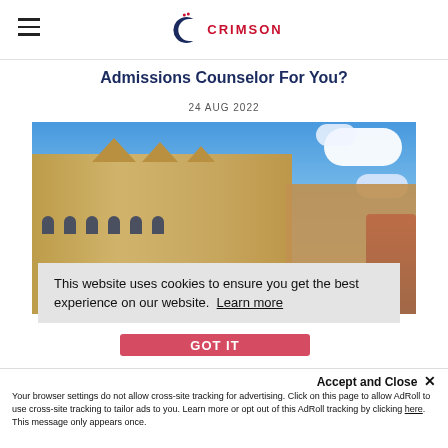CRIMSON
Admissions Counselor For You?
24 AUG 2022
[Figure (photo): Gothic stone university building (likely Oxford) against a blue sky with white clouds]
This website uses cookies to ensure you get the best experience on our website. Learn more
Accept and Close ×
Your browser settings do not allow cross-site tracking for advertising. Click on this page to allow AdRoll to use cross-site tracking to tailor ads to you. Learn more or opt out of this AdRoll tracking by clicking here. This message only appears once.